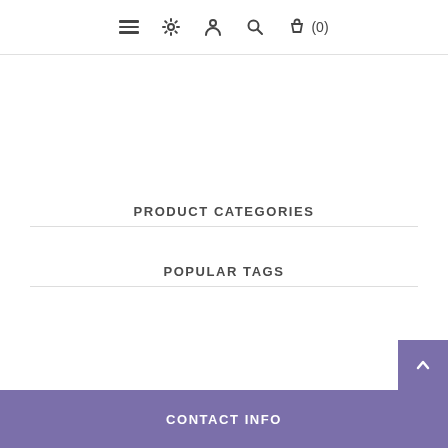Navigation bar with menu, settings, user, search, and cart (0) icons
PRODUCT CATEGORIES
POPULAR TAGS
[Figure (other): Back-to-top button with upward chevron arrow, purple background]
CONTACT INFO